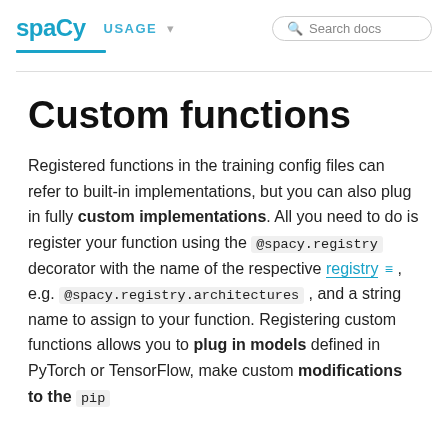spaCy USAGE ▾ Search docs
Custom functions
Registered functions in the training config files can refer to built-in implementations, but you can also plug in fully custom implementations. All you need to do is register your function using the @spacy.registry decorator with the name of the respective registry, e.g. @spacy.registry.architectures , and a string name to assign to your function. Registering custom functions allows you to plug in models defined in PyTorch or TensorFlow, make custom modifications to the pip...